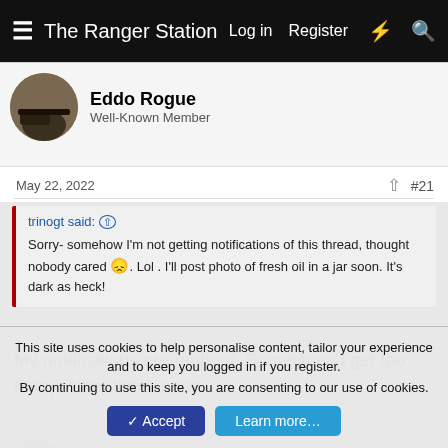The Ranger Station   Log in   Register
Eddo Rogue
Well-Known Member
May 22, 2022   #21
trinogt said: ↑
Sorry- somehow I'm not getting notifications of this thread, thought nobody cared 😞. Lol . I'll post photo of fresh oil in a jar soon. It's dark as heck!
My notifications are random. Sometimes I get too many, other times none.
ekrampitzjr
This site uses cookies to help personalise content, tailor your experience and to keep you logged in if you register.
By continuing to use this site, you are consenting to our use of cookies.
Accept   Learn more…